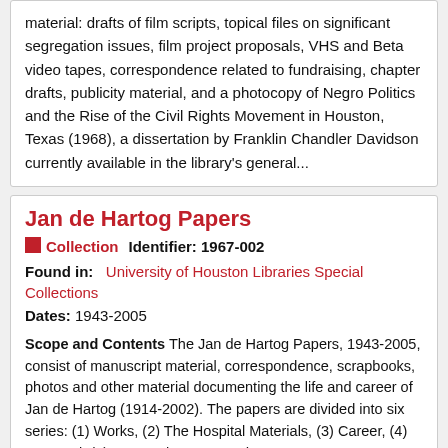material: drafts of film scripts, topical files on significant segregation issues, film project proposals, VHS and Beta video tapes, correspondence related to fundraising, chapter drafts, publicity material, and a photocopy of Negro Politics and the Rise of the Civil Rights Movement in Houston, Texas (1968), a dissertation by Franklin Chandler Davidson currently available in the library's general...
Jan de Hartog Papers
Collection   Identifier: 1967-002
Found in:   University of Houston Libraries Special Collections
Dates: 1943-2005
Scope and Contents The Jan de Hartog Papers, 1943-2005, consist of manuscript material, correspondence, scrapbooks, photos and other material documenting the life and career of Jan de Hartog (1914-2002). The papers are divided into six series: (1) Works, (2) The Hospital Materials, (3) Career, (4) Personal, (5) Personal Correspondence,